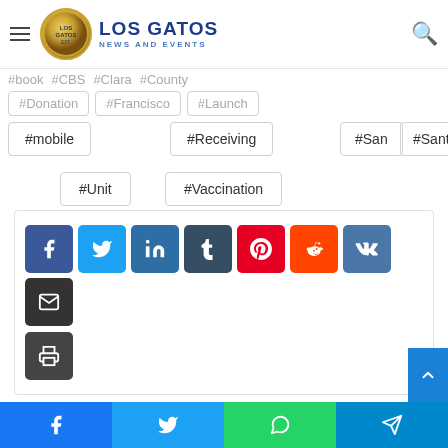Los Gatos News and Events
#mobile
#Receiving
#San
#Santa
#Unit
#Vaccination
[Figure (screenshot): Social media share buttons: Facebook, Twitter, LinkedIn, Tumblr, Pinterest, Reddit, VK, Email, Print]
Facebook, Twitter, WhatsApp, Telegram share buttons